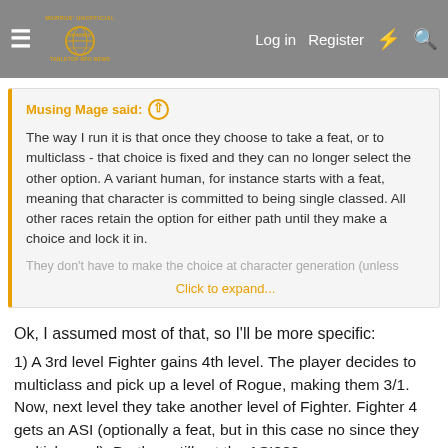Morrus' Unofficial Tabletop RPG News — Log in  Register
Musing Mage said: ↑

The way I run it is that once they choose to take a feat, or to multiclass - that choice is fixed and they can no longer select the other option. A variant human, for instance starts with a feat, meaning that character is committed to being single classed. All other races retain the option for either path until they make a choice and lock it in.

They don't have to make the choice at character generation (unless

Click to expand...
Ok, I assumed most of that, so I'll be more specific:
1) A 3rd level Fighter gains 4th level. The player decides to multiclass and pick up a level of Rogue, making them 3/1. Now, next level they take another level of Fighter. Fighter 4 gets an ASI (optionally a feat, but in this case no since they multiclassed). Do they still get the ASI???